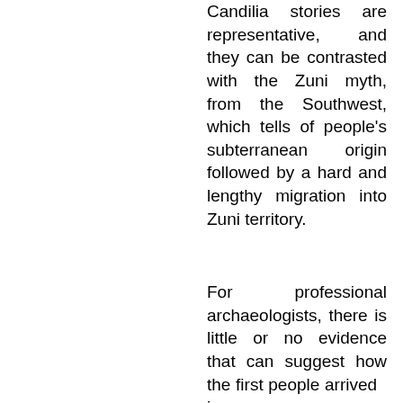Candilia stories are representative, and they can be contrasted with the Zuni myth, from the Southwest, which tells of people's subterranean origin followed by a hard and lengthy migration into Zuni territory.
For professional archaeologists, there is little or no evidence that can suggest how the first people arrived in